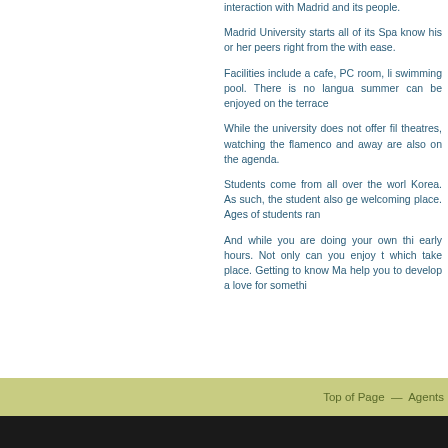interaction with Madrid and its people.
Madrid University starts all of its Spa know his or her peers right from the with ease.
Facilities include a cafe, PC room, li swimming pool. There is no langua summer can be enjoyed on the terrace
While the university does not offer fil theatres, watching the flamenco and away are also on the agenda.
Students come from all over the worl Korea. As such, the student also ge welcoming place. Ages of students ran
And while you are doing your own thi early hours. Not only can you enjoy t which take place. Getting to know Ma help you to develop a love for somethi
Top of Page  —  Agents